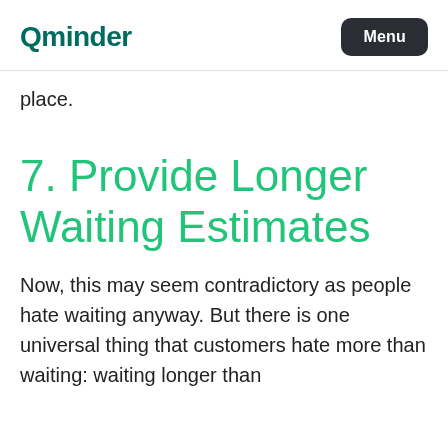Qminder | Menu
place.
7. Provide Longer Waiting Estimates
Now, this may seem contradictory as people hate waiting anyway. But there is one universal thing that customers hate more than waiting: waiting longer than